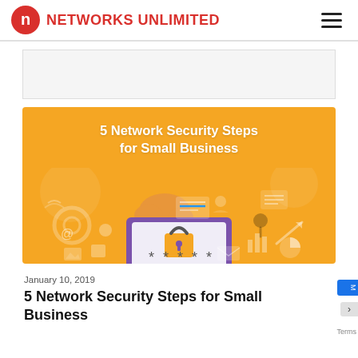NETWORKS UNLIMITED
[Figure (illustration): Orange banner illustration for '5 Network Security Steps for Small Business' showing a laptop with a padlock and password field, surrounded by icons for cloud, charts, email, calendar, location pin, gear, lightbulb, and wifi symbols.]
January 10, 2019
5 Network Security Steps for Small Business